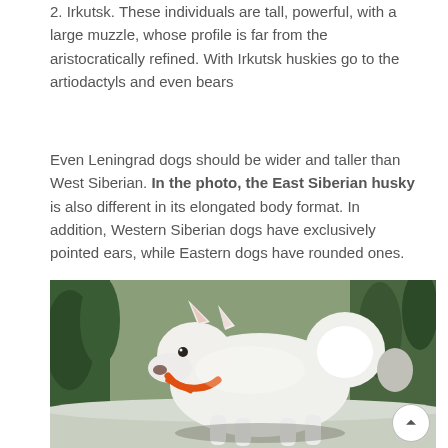2. Irkutsk. These individuals are tall, powerful, with a large muzzle, whose profile is far from the aristocratically refined. With Irkutsk huskies go to the artiodactyls and even bears
Even Leningrad dogs should be wider and taller than West Siberian. In the photo, the East Siberian husky is also different in its elongated body format. In addition, Western Siberian dogs have exclusively pointed ears, while Eastern dogs have rounded ones.
[Figure (photo): A white East Siberian husky dog with an orange collar, standing and looking back, photographed outdoors with green trees in the background.]